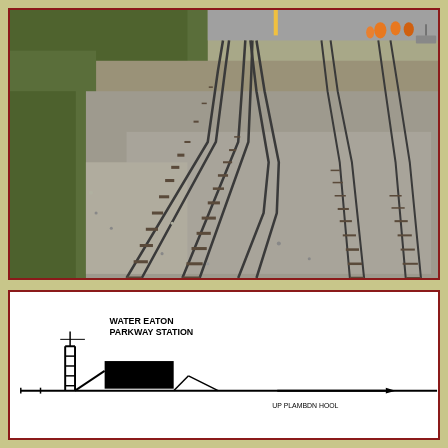[Figure (photo): Aerial/perspective view of multiple railway tracks converging and diverging, with gravel ballast. Green vegetation visible on the left side. Workers in orange high-visibility clothing visible in the upper right. Tracks stretch into the distance.]
[Figure (engineering-diagram): Railway track schematic diagram showing Water Eaton Parkway Station layout. Shows track lines with a station platform box marked in black, and directional arrows. Label 'UP PLAMBDN HOOL' partially visible at bottom.]